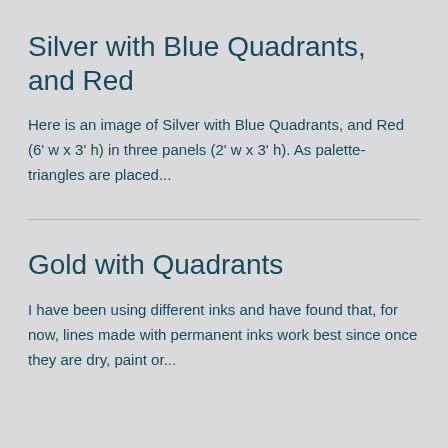Silver with Blue Quadrants, and Red
Here is an image of Silver with Blue Quadrants, and Red (6' w x 3' h) in three panels (2' w x 3' h). As palette-triangles are placed...
Gold with Quadrants
I have been using different inks and have found that, for now, lines made with permanent inks work best since once they are dry, paint or...